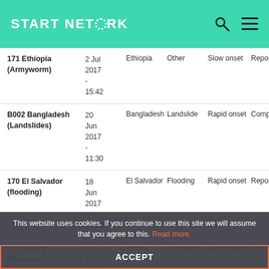START NETWORK
| ID & Name | Date | Country | Type | Onset | Status |
| --- | --- | --- | --- | --- | --- |
| 171 Ethiopia (Armyworm) | 2 Jul 2017 - 15:42 | Ethiopia | Other | Slow onset | Report |
| B002 Bangladesh (Landslides) | 20 Jun 2017 - 11:30 | Bangladesh | Landslide | Rapid onset | Compl |
| 170 El Salvador (flooding) | 18 Jun 2017 - 09:30 | El Salvador | Flooding | Rapid onset | Report |
| 169 Mexico (hurricane) | 12 Jun 2017 | Mexico | Hurricane | Rapid onset | Report |
This website uses cookies. If you continue to use this site we will assume that you agree to this. Read more.
ACCEPT